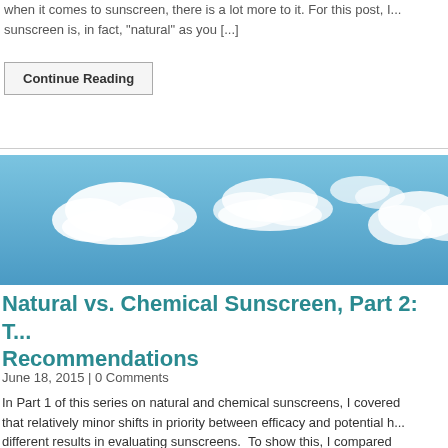when it comes to sunscreen, there is a lot more to it. For this post, I... sunscreen is, in fact, “natural” as you [...]
Continue Reading
[Figure (photo): Blue sky with white clouds, wide banner image]
Natural vs. Chemical Sunscreen, Part 2: T... Recommendations
June 18, 2015 | 0 Comments
In Part 1 of this series on natural and chemical sunscreens, I covered that relatively minor shifts in priority between efficacy and potential h... different results in evaluating sunscreens. To show this, I compared...